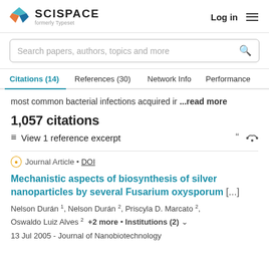[Figure (logo): SciSpace logo with colorful diamond icon and text 'SCISPACE formerly Typeset']
Log in  ☰
Search papers, authors, topics and more
Citations (14)   References (30)   Network Info   Performance
most common bacterial infections acquired ir ...read more
1,057 citations
≡  View 1 reference excerpt
Journal Article • DOI
Mechanistic aspects of biosynthesis of silver nanoparticles by several Fusarium oxysporum [...]
Nelson Durán 1, Nelson Durán 2, Priscyla D. Marcato 2, Oswaldo Luiz Alves 2  +2 more · Institutions (2) ∨
13 Jul 2005 - Journal of Nanobiotechnology